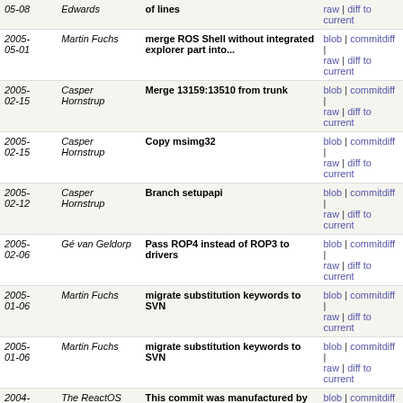| Date | Author | Commit message | Links |
| --- | --- | --- | --- |
| 2005-05-08 | Edwards | of lines | blob | commitdiff | raw | diff to current |
| 2005-05-01 | Martin Fuchs | merge ROS Shell without integrated explorer part into... | blob | commitdiff | raw | diff to current |
| 2005-02-15 | Casper Hornstrup | Merge 13159:13510 from trunk | blob | commitdiff | raw | diff to current |
| 2005-02-15 | Casper Hornstrup | Copy msimg32 | blob | commitdiff | raw | diff to current |
| 2005-02-12 | Casper Hornstrup | Branch setupapi | blob | commitdiff | raw | diff to current |
| 2005-02-06 | Gé van Geldorp | Pass ROP4 instead of ROP3 to drivers | blob | commitdiff | raw | diff to current |
| 2005-01-06 | Martin Fuchs | migrate substitution keywords to SVN | blob | commitdiff | raw | diff to current |
| 2005-01-06 | Martin Fuchs | migrate substitution keywords to SVN | blob | commitdiff | raw | diff to current |
| 2004-07-18 | The ReactOS Team | This commit was manufactured by cvs2svn to create branch | blob | commitdiff | raw |
| 2004-07-15 | The ReactOS Team | This commit was manufactured by cvs2svn to create branch | blob | commitdiff | raw |
| 2004-07-14 | Filip Navara | - Change the prototype of DIB_*_BitBlt* functions to... | blob | commitdiff | raw | diff to current |
| 2004-07-03 | Filip Navara | - Fix errors during optimized build. | blob | commitdiff | raw | diff to current |
| 2004-07-03 | Filip Navara | [Sorry for too many changes in one patch, but it's... | blob | commitdiff | raw | diff to current |